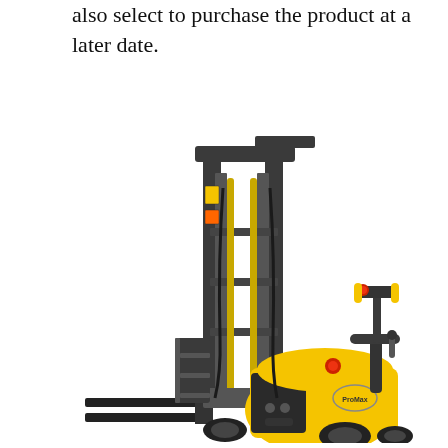also select to purchase the product at a later date.
[Figure (photo): A yellow and black electric walkie stacker forklift with extended mast, forks at ground level, and operator handle/controls visible on the right side. Brand logo visible on the yellow body.]